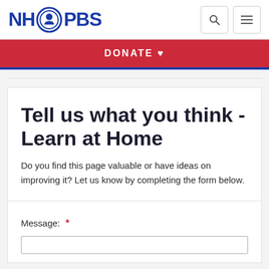NH PBS
DONATE ♥
Tell us what you think - Learn at Home
Do you find this page valuable or have ideas on improving it? Let us know by completing the form below.
Message: *